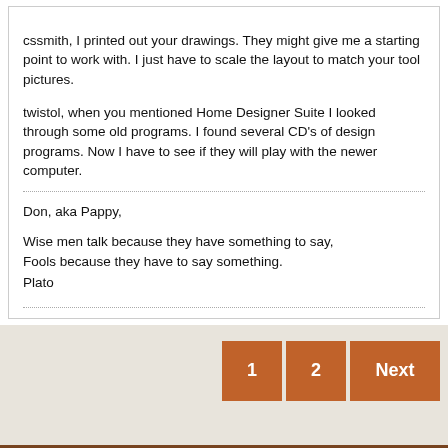cssmith, I printed out your drawings. They might give me a starting point to work with. I just have to scale the layout to match your tool pictures.
twistol, when you mentioned Home Designer Suite I looked through some old programs. I found several CD's of design programs. Now I have to see if they will play with the newer computer.
Don, aka Pappy,

Wise men talk because they have something to say,
Fools because they have to say something.
Plato
[Figure (other): Pagination buttons: 1, 2, Next on a beige/cream background area]
[Figure (other): Dark wood-textured footer bar with two dropdown menus: '- SawdustZone' and 'Go to...']